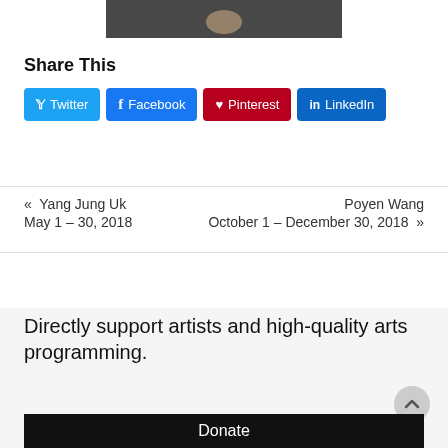[Figure (photo): Partial photo of a person in dark clothing against a grey background, cropped at top]
Share This
Twitter | Facebook | Pinterest | LinkedIn (share buttons)
« Yang Jung Uk May 1 – 30, 2018
Poyen Wang October 1 – December 30, 2018 »
Directly support artists and high-quality arts programming.
Donate